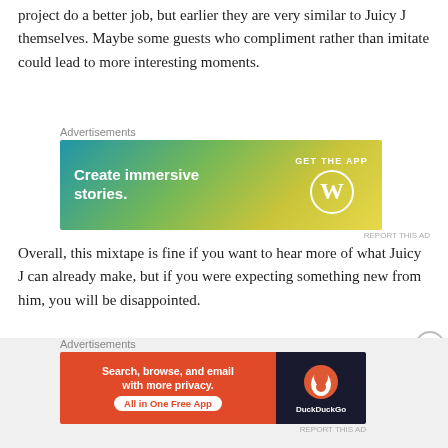project do a better job, but earlier they are very similar to Juicy J themselves. Maybe some guests who compliment rather than imitate could lead to more interesting moments.
[Figure (screenshot): Advertisement banner for WordPress: 'Create immersive stories. GET THE APP' with WordPress logo on gradient blue-green-yellow background]
Overall, this mixtape is fine if you want to hear more of what Juicy J can already make, but if you were expecting something new from him, you will be disappointed.
September 9, 2015
Leave a Reply
[Figure (screenshot): Advertisement banner for DuckDuckGo: 'Search, browse, and email with more privacy. All in One Free App' with DuckDuckGo logo on orange and dark background]